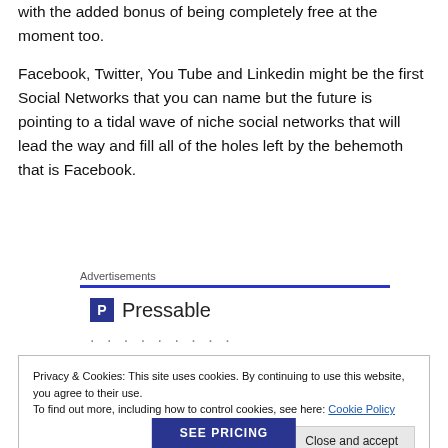with the added bonus of being completely free at the moment too.
Facebook, Twitter, You Tube and Linkedin might be the first Social Networks that you can name but the future is pointing to a tidal wave of niche social networks that will lead the way and fill all of the holes left by the behemoth that is Facebook.
[Figure (logo): Pressable logo with blue P icon and text 'Pressable' with dotted separator, under an 'Advertisements' label with blue underline]
Privacy & Cookies: This site uses cookies. By continuing to use this website, you agree to their use.
To find out more, including how to control cookies, see here: Cookie Policy
Close and accept
SEE PRICING